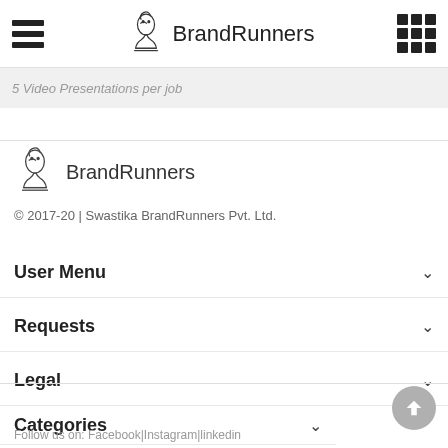BrandRunners
5 Video Presentations per job
[Figure (logo): BrandRunners chess knight logo with text BrandRunners]
© 2017-20 | Swastika BrandRunners Pvt. Ltd.
User Menu
Requests
Legal
Categories
Follow us on:  Facebook|Instagram|linkedin